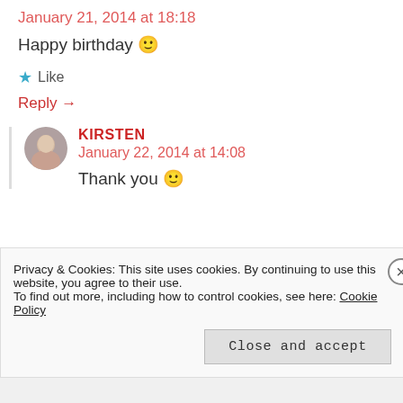January 21, 2014 at 18:18
Happy birthday 🙂
★ Like
Reply →
KIRSTEN
January 22, 2014 at 14:08
Thank you 🙂
Privacy & Cookies: This site uses cookies. By continuing to use this website, you agree to their use.
To find out more, including how to control cookies, see here: Cookie Policy
Close and accept